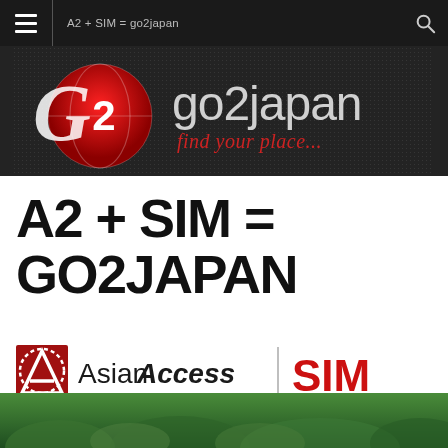A2 + SIM = go2japan
[Figure (logo): go2japan logo with G2 red globe icon and text 'go2japan find your place...' on dark background]
A2 + SIM = GO2JAPAN
[Figure (logo): Asian Access logo with red geometric icon, text 'Asian Access | SIM' and tagline 'a strategic partnership for Japan']
[Figure (photo): Bottom strip showing partial outdoor photo with green foliage]